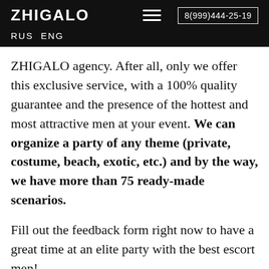ZHIGALO   8(999)444-25-19   RUS ENG
ZHIGALO agency. After all, only we offer this exclusive service, with a 100% quality guarantee and the presence of the hottest and most attractive men at your event. We can organize a party of any theme (private, costume, beach, exotic, etc.) and by the way, we have more than 75 ready-made scenarios.
Fill out the feedback form right now to have a great time at an elite party with the best escort men!